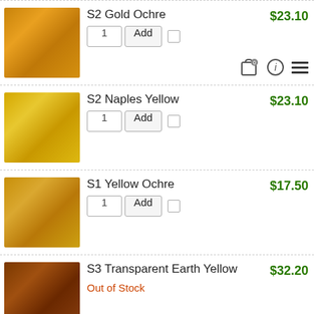S2 Gold Ochre $23.10
S2 Naples Yellow $23.10
S1 Yellow Ochre $17.50
S3 Transparent Earth Yellow $32.20 Out of Stock
S1 Raw Sienna $17.50
S1 Burnt Sienna $17.50